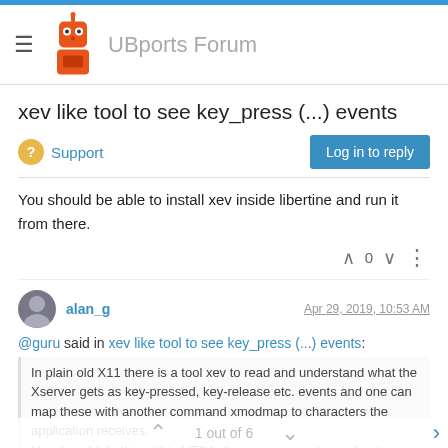UBports Forum
xev like tool to see key_press (...) events
Support | Log in to reply
You should be able to install xev inside libertine and run it from there.
alan_g  Apr 29, 2019, 10:53 AM
@guru said in xev like tool to see key_press (...) events:
In plain old X11 there is a tool xev to read and understand what the Xserver gets as key-pressed, key-release etc. events and one can map these with another command xmodmap to characters the application receives.
How I could do this within UT? Is there some app to read native from
1 out of 6